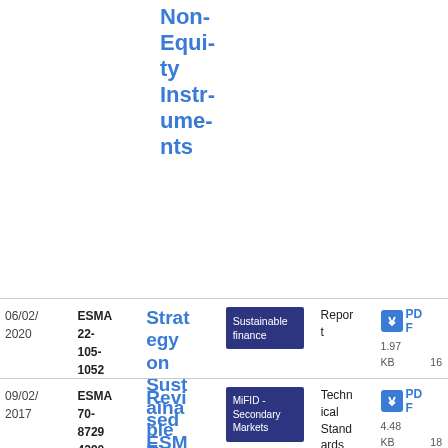| Date | Reference | Title | Topic | Type | Download |
| --- | --- | --- | --- | --- | --- |
|  |  | Non-Equity Instruments |  |  |  |
| 06/02/2020 | ESMA 22-105-1052 | Strategy on Sustainable Finance | Sustainable finance | Report | PDF 1.97 KB 16 |
| 09/02/2017 | ESMA 70-87294290 1-3 | Revised ESMA draft | MiFID - Secondary Markets | Technical Standards | PDF 4.48 KB 18 |